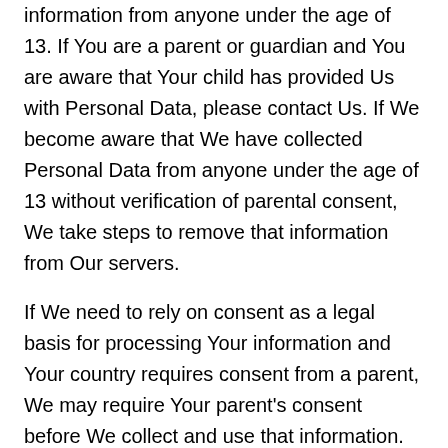information from anyone under the age of 13. If You are a parent or guardian and You are aware that Your child has provided Us with Personal Data, please contact Us. If We become aware that We have collected Personal Data from anyone under the age of 13 without verification of parental consent, We take steps to remove that information from Our servers.
If We need to rely on consent as a legal basis for processing Your information and Your country requires consent from a parent, We may require Your parent's consent before We collect and use that information.
Your California Privacy Rights